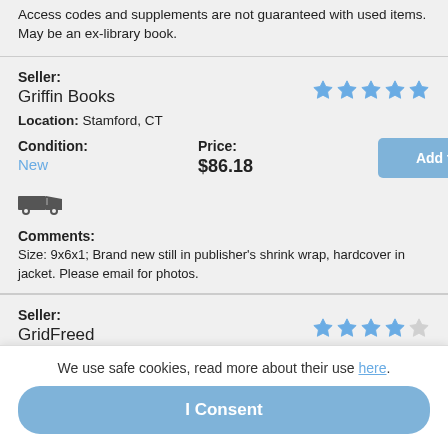Access codes and supplements are not guaranteed with used items. May be an ex-library book.
Seller: Griffin Books
Location: Stamford, CT
Condition: New
Price: $86.18
Comments: Size: 9x6x1; Brand new still in publisher's shrink wrap, hardcover in jacket. Please email for photos.
Seller: GridFreed
We use safe cookies, read more about their use here.